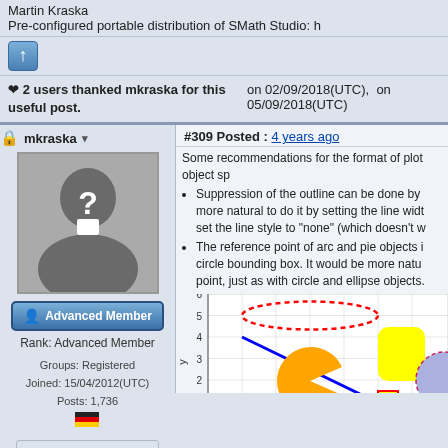Martin Kraska
Pre-configured portable distribution of SMath Studio: h
↑
❤ 2 users thanked mkraska for this useful post.
on 02/09/2018(UTC),  on 05/09/2018(UTC)
mkraska ▾
#309 Posted : 4 years ago
[Figure (photo): Default avatar silhouette with question mark]
Advanced Member
Rank: Advanced Member
Groups: Registered
Joined: 15/04/2012(UTC)
Posts: 1,736
Was thanked: 952 time(s) in 604 post(s)
Some recommendations for the format of plot object sp
Suppression of the outline can be done by more natural to do it by setting the line widt set the line style to "none" (which doesn't w
The reference point of arc and pie objects i circle bounding box. It would be more natu point, just as with circle and ellipse objects.
[Figure (other): Mathematical plot showing geometric shapes: dashed red ellipse, blue line, orange pac-man arc, yellow rounded rectangle, small yellow square, blue circle fragment, dashed magenta arc. Y-axis labeled 'y' with values 0-6, X-axis with values -3 to 7.]